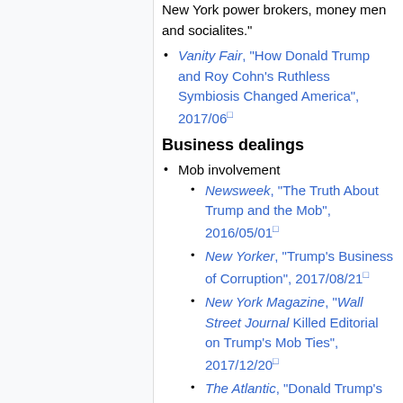New York power brokers, money men and socialites."
Vanity Fair, "How Donald Trump and Roy Cohn's Ruthless Symbiosis Changed America", 2017/06
Business dealings
Mob involvement
Newsweek, "The Truth About Trump and the Mob", 2016/05/01
New Yorker, "Trump's Business of Corruption", 2017/08/21
New York Magazine, "Wall Street Journal Killed Editorial on Trump's Mob Ties", 2017/12/20
The Atlantic, "Donald Trump's Mafia Mind-Set", 2018/08/23: "As Gravano told me, by way of illustrating his influence, "I literally